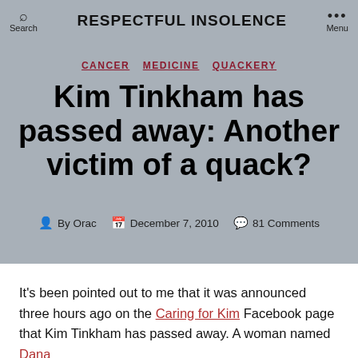RESPECTFUL INSOLENCE
CANCER  MEDICINE  QUACKERY
Kim Tinkham has passed away: Another victim of a quack?
By Orac  December 7, 2010  81 Comments
It's been pointed out to me that it was announced three hours ago on the Caring for Kim Facebook page that Kim Tinkham has passed away. A woman named Dana